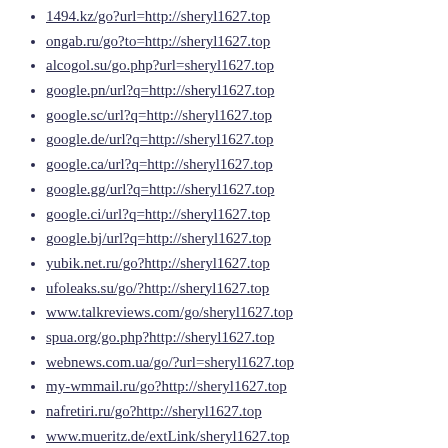1494.kz/go?url=http://sheryl1627.top
ongab.ru/go?to=http://sheryl1627.top
alcogol.su/go.php?url=sheryl1627.top
google.pn/url?q=http://sheryl1627.top
google.sc/url?q=http://sheryl1627.top
google.de/url?q=http://sheryl1627.top
google.ca/url?q=http://sheryl1627.top
google.gg/url?q=http://sheryl1627.top
google.ci/url?q=http://sheryl1627.top
google.bj/url?q=http://sheryl1627.top
yubik.net.ru/go?http://sheryl1627.top
ufoleaks.su/go/?http://sheryl1627.top
www.talkreviews.com/go/sheryl1627.top
spua.org/go.php?http://sheryl1627.top
webnews.com.ua/go/?url=sheryl1627.top
my-wmmail.ru/go?http://sheryl1627.top
nafretiri.ru/go?http://sheryl1627.top
www.mueritz.de/extLink/sheryl1627.top
ww4.cef.es/trk/r.emt?h=sheryl1627.top